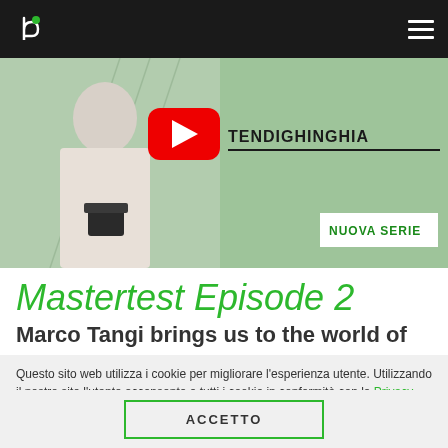Navigation bar with logo and hamburger menu
[Figure (screenshot): Video thumbnail showing a man holding a plant pot with a YouTube play button overlay, text 'TENDIGHINGHIA' and 'NUOVA SERIE' badge on green background]
Mastertest Episode 2
Marco Tangi brings us to the world of
Questo sito web utilizza i cookie per migliorare l'esperienza utente. Utilizzando il nostro sito l'utente acconsente a tutti i cookie in conformità con la Privacy Policy.
ACCETTO